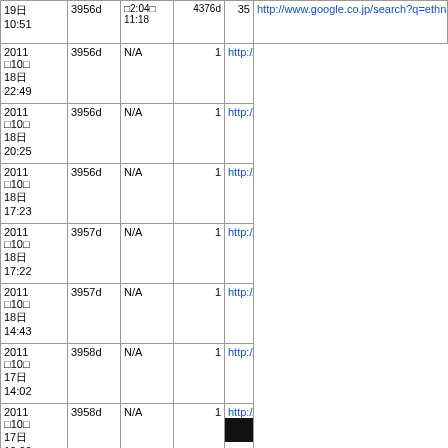| Date | ID | N/A | # | URL |
| --- | --- | --- | --- | --- |
| 2011
10
19
10:51 | 3956d | 2:04
11:18 | 4376d | 35 | http://www.google.co.jp/search?q=ethna+pub&ie=utf-8&oe=... |
| 2011
10
18
22:49 | 3956d | N/A | 1 | http://www.google.co.jp/url?sa=t&source=web&cd=57&ved=0... |
| 2011
10
18
20:25 | 3956d | N/A | 1 | http://www.google.co.jp/search?q=Ethna++prepared+stateme... |
| 2011
10
18
17:23 | 3956d | N/A | 1 | http://www.google.co.jp/url?sa=t&source=web&cd=1&sqi=2&... |
| 2011
10
18
17:22 | 3957d | N/A | 1 | http://www.google.co.jp/search?aq=f&gcx=c&sourceid=chrom... |
| 2011
10
18
14:43 | 3957d | N/A | 1 | http://www.google.co.jp/url?sa=t&source=web&cd=6&ved=0C... |
| 2011
10
17
14:02 | 3958d | N/A | 1 | http://www.google.co.jp/search?hl=ja&client=firefox-a&rls=org... |
| 2011
10
17
10:00 | 3958d | N/A | 1 | http://www.google.com/search?q=ethna+statement&hl=ja&rlz... |
| 2011
10
14
17:15 | 3961d | N/A | 1 | http://www.google.co.jp/url?sa=t&source=web&cd=3&ved=0C... |
| 2011
10
14
... | 3961d | N/A | 1 | http://www.google.co.jp/hws/search?q=ETHNA+BACKEND&c... |